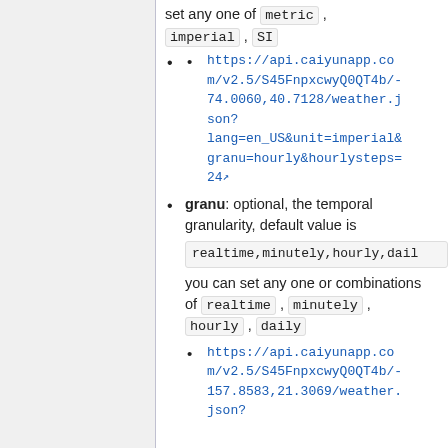set any one of metric , imperial , SI
https://api.caiyunapp.com/v2.5/S45FnpxcwyQ0QT4b/-74.0060,40.7128/weather.json?lang=en_US&unit=imperial&granu=hourly&hourlysteps=24
granu: optional, the temporal granularity, default value is realtime,minutely,hourly,daily you can set any one or combinations of realtime , minutely , hourly , daily
https://api.caiyunapp.com/v2.5/S45FnpxcwyQ0QT4b/-157.8583,21.3069/weather.json?